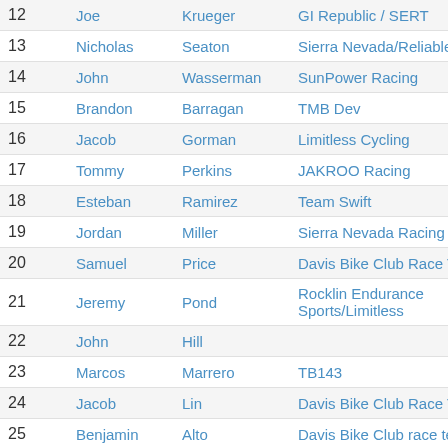| Place | First | Last | Team |
| --- | --- | --- | --- |
| 12 | Joe | Krueger | GI Republic / SERT |
| 13 | Nicholas | Seaton | Sierra Nevada/Reliable |
| 14 | John | Wasserman | SunPower Racing |
| 15 | Brandon | Barragan | TMB Dev |
| 16 | Jacob | Gorman | Limitless Cycling |
| 17 | Tommy | Perkins | JAKROO Racing |
| 18 | Esteban | Ramirez | Team Swift |
| 19 | Jordan | Miller | Sierra Nevada Racing |
| 20 | Samuel | Price | Davis Bike Club Race Team |
| 21 | Jeremy | Pond | Rocklin Endurance Sports/Limitless |
| 22 | John | Hill |  |
| 23 | Marcos | Marrero | TB143 |
| 24 | Jacob | Lin | Davis Bike Club Race Team |
| 25 | Benjamin | Alto | Davis Bike Club race team |
| 26 | Mark | Guadagni | St. Mary's College |
| DNF | Paul | Salisbury | SNR |
| DNF | Jhenrick | James | peninsula velo/ summit bicycle raci |